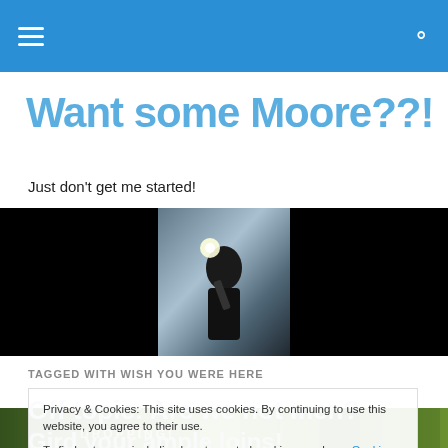Navigation bar with hamburger menu and search icon
Want some Moore??!
Just don't get me started!
[Figure (photo): Person holding a power drill looking upward, with a bright light/spark, centered on black background]
TAGGED WITH WISH YOU WERE HERE
Privacy & Cookies: This site uses cookies. By continuing to use this website, you agree to their use. To find out more, including how to control cookies, see here: Cookie Policy
Off topic: Are we not men?
Gird your ample loins!
[Figure (photo): Green sports stadium or football pitch aerial view with text overlay including 'DROPPING!']